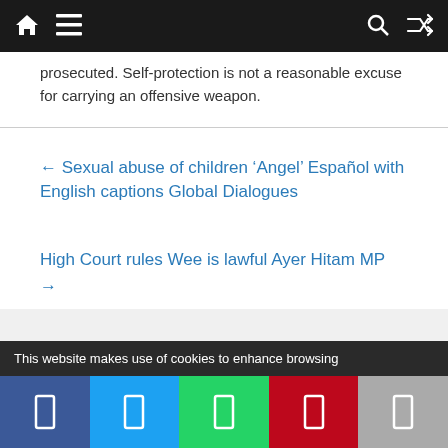Navigation bar with home, menu, search, and shuffle icons
prosecuted. Self-protection is not a reasonable excuse for carrying an offensive weapon.
← Sexual abuse of children ‘Angel’ Español with English captions Global Dialogues
High Court rules Wee is lawful Ayer Hitam MP →
This website makes use of cookies to enhance browsing